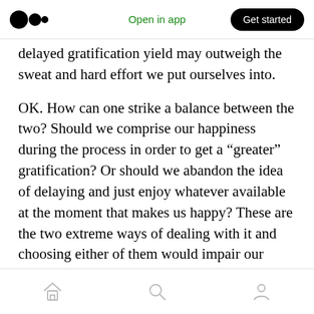Medium logo | Open in app | Get started
delayed gratification yield may outweigh the sweat and hard effort we put ourselves into.
OK. How can one strike a balance between the two? Should we comprise our happiness during the process in order to get a “greater” gratification? Or should we abandon the idea of delaying and just enjoy whatever available at the moment that makes us happy? These are the two extreme ways of dealing with it and choosing either of them would impair our overall happiness or quality of the result.
Home | Search | Profile